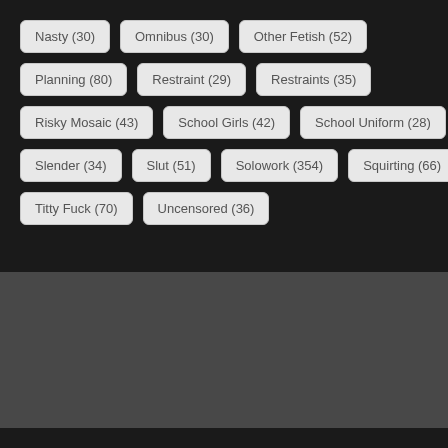Nasty (30)
Omnibus (30)
Other Fetish (52)
Planning (80)
Restraint (29)
Restraints (35)
Risky Mosaic (43)
School Girls (42)
School Uniform (28)
Slender (34)
Slut (51)
Solowork (354)
Squirting (66)
Titty Fuck (70)
Uncensored (36)